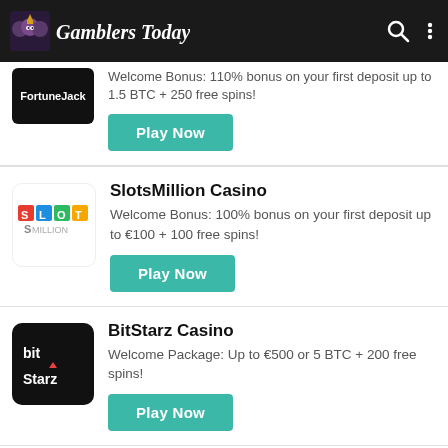Gamblers Today
[Figure (screenshot): FortuneJack casino logo - black background with FortuneJack text]
Welcome Bonus: 110% bonus on your first deposit up to 1.5 BTC + 250 free spins!
Play Now
[Figure (logo): SlotsMillion logo - colorful SLOTS text with MILLION below]
SlotsMillion Casino
Welcome Bonus: 100% bonus on your first deposit up to €100 + 100 free spins!
Play Now
[Figure (logo): BitStarz Casino logo - black background with bit star Starz text]
BitStarz Casino
Welcome Package: Up to €500 or 5 BTC + 200 free spins!
Play Now
[Figure (logo): LeoVegas Casino logo - orange background with lion icon]
LeoVegas Casino
Welcome Package: up to €1600 and 100 extra cash Free Spins,